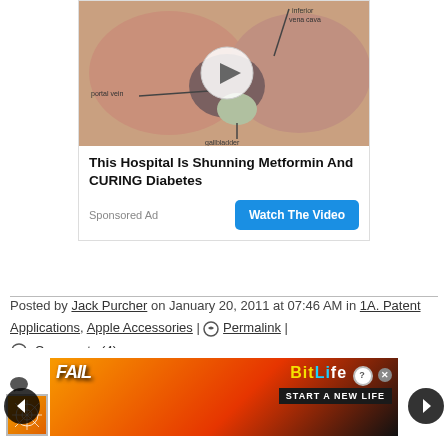[Figure (illustration): Medical anatomy illustration showing liver, gallbladder, portal vein, and inferior vena cava with a play button overlay circle]
This Hospital Is Shunning Metformin And CURING Diabetes
Sponsored Ad
Watch The Video
Posted by Jack Purcher on January 20, 2011 at 07:46 AM in 1A. Patent Applications, Apple Accessories | Permalink | Comments (4)
[Figure (illustration): BitLife 'Start A New Life' advertisement banner with FAIL text and cartoon character with flames]
Comments
...think that eliminate a glass to door for cameras, no? If so, could we see a scanner